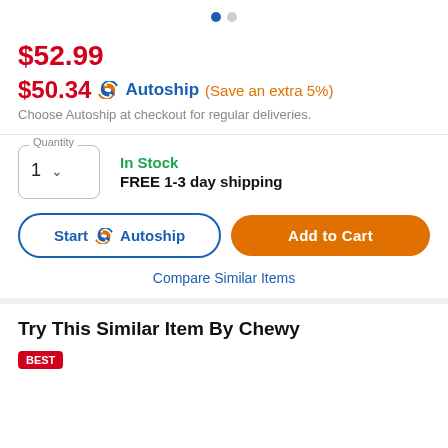[Figure (other): Pagination dots: one filled blue dot and one empty grey dot]
$52.99
$50.34  Autoship (Save an extra 5%)
Choose Autoship at checkout for regular deliveries.
In Stock
FREE 1-3 day shipping
Start  Autoship
Add to Cart
Compare Similar Items
Try This Similar Item By Chewy
[Figure (other): Red badge partially visible at bottom reading 'Best']